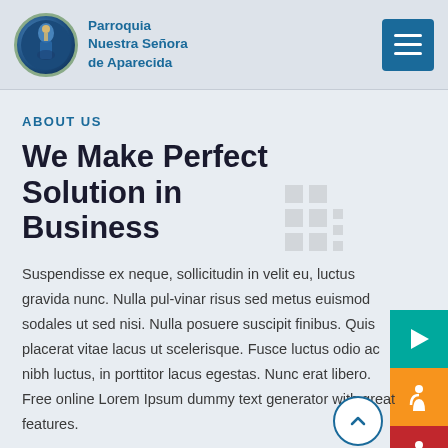Parroquia Nuestra Señora de Aparecida
ABOUT US
We Make Perfect Solution in Business
Suspendisse ex neque, sollicitudin in velit eu, luctus gravida nunc. Nulla pul-vinar risus sed metus euismod sodales ut sed nisi. Nulla posuere suscipit finibus. Quis placerat vitae lacus ut scelerisque. Fusce luctus odio ac nibh luctus, in porttitor lacus egestas. Nunc erat libero. Free online Lorem Ipsum dummy text generator with great features.